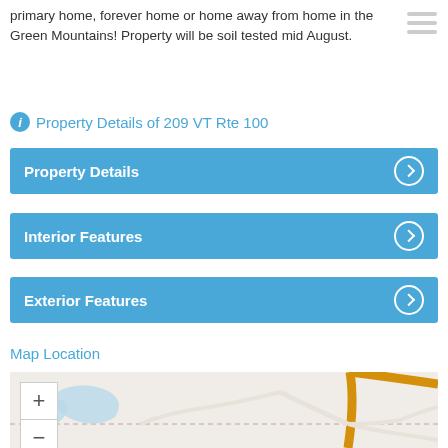primary home, forever home or home away from home in the Green Mountains! Property will be soil tested mid August.
Property Details of 209 VT Rte 100
Property Details
Interior Features
Exterior Features
Map Location
[Figure (map): Street map showing area near 209 VT Rte 100 with zoom controls (+/-) and fullscreen button. Map shows road intersections with an orange/tan colored main road and light blue water features.]